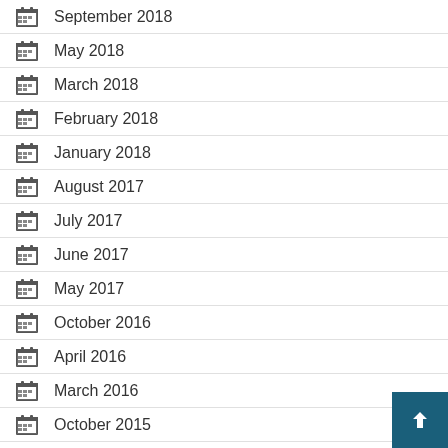September 2018
May 2018
March 2018
February 2018
January 2018
August 2017
July 2017
June 2017
May 2017
October 2016
April 2016
March 2016
October 2015